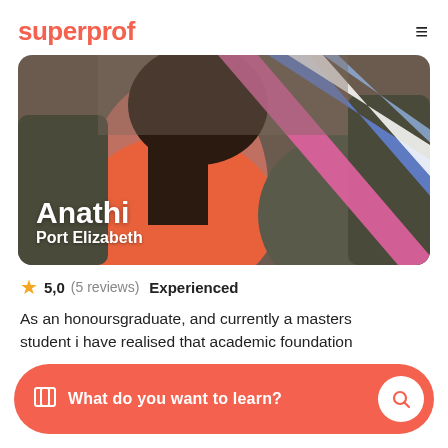superprof
[Figure (photo): Profile photo of Anathi, a tutor from Port Elizabeth, wearing an orange top with colorful sashes/ribbons across the chest, standing outdoors. Name 'Anathi' and location 'Port Elizabeth' are overlaid on the image.]
5,0 (5 reviews) Experienced
As an honoursgraduate, and currently a masters student i have realised that academic foundation
What do you want to learn?